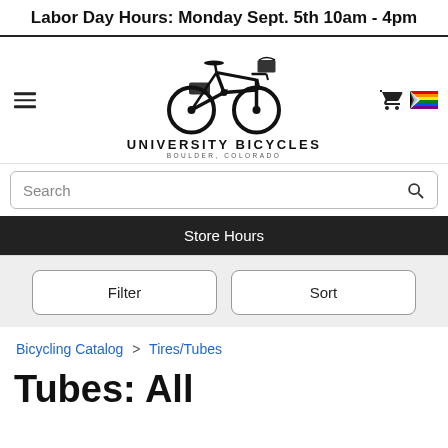Labor Day Hours: Monday Sept. 5th 10am - 4pm
[Figure (logo): University Bicycles logo with bicycle illustration, text 'UNIVERSITY BICYCLES BOULDER, COLORADO']
Search
Store Hours
Filter
Sort
Bicycling Catalog > Tires/Tubes
Tubes: All